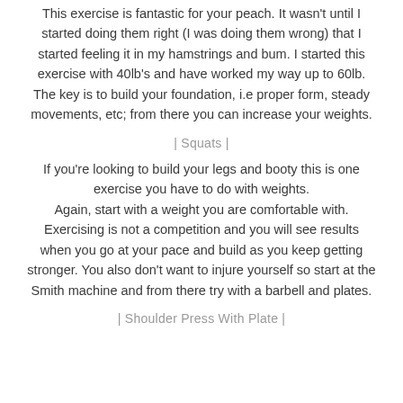This exercise is fantastic for your peach. It wasn't until I started doing them right (I was doing them wrong) that I started feeling it in my hamstrings and bum. I started this exercise with 40lb's and have worked my way up to 60lb. The key is to build your foundation, i.e proper form, steady movements, etc; from there you can increase your weights.
| Squats |
If you're looking to build your legs and booty this is one exercise you have to do with weights. Again, start with a weight you are comfortable with. Exercising is not a competition and you will see results when you go at your pace and build as you keep getting stronger. You also don't want to injure yourself so start at the Smith machine and from there try with a barbell and plates.
| Shoulder Press With Plate |